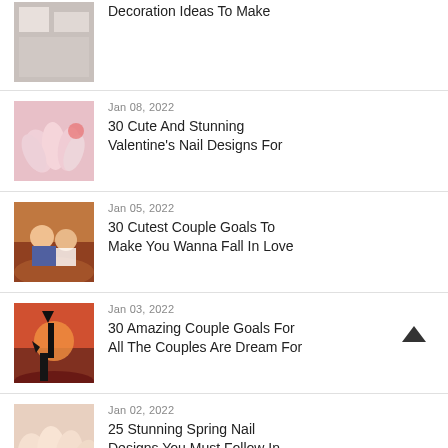Decoration Ideas To Make
Jan 08, 2022
30 Cute And Stunning Valentine's Nail Designs For
Jan 05, 2022
30 Cutest Couple Goals To Make You Wanna Fall In Love
Jan 03, 2022
30 Amazing Couple Goals For All The Couples Are Dream For
Jan 02, 2022
25 Stunning Spring Nail Designs You Must Follow In
Dec 17, 2021
30 Delicious And Cute